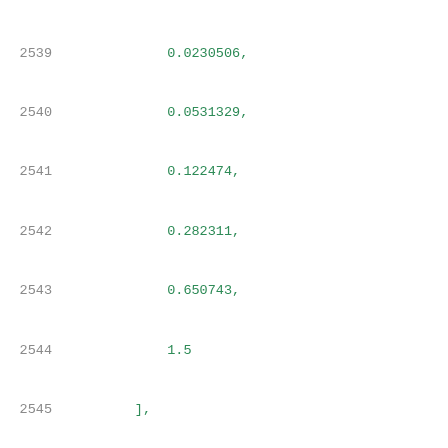Code listing showing numeric array data with line numbers 2539-2559, including index_2 and values arrays